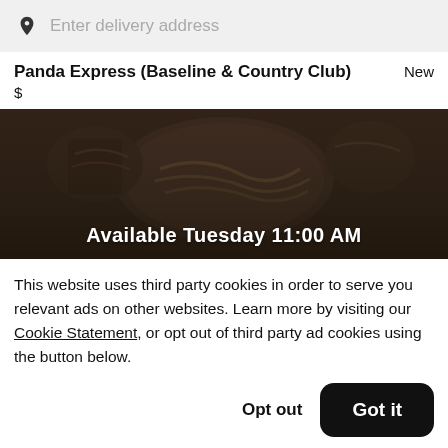Enter delivery address
Panda Express (Baseline & Country Club)  New
$
[Figure (photo): Dark overhead photo of a plate of Chinese food (noodles/stir fry), overlaid with text 'Available Tuesday 11:00 AM' in white bold font.]
This website uses third party cookies in order to serve you relevant ads on other websites. Learn more by visiting our Cookie Statement, or opt out of third party ad cookies using the button below.
Opt out
Got it